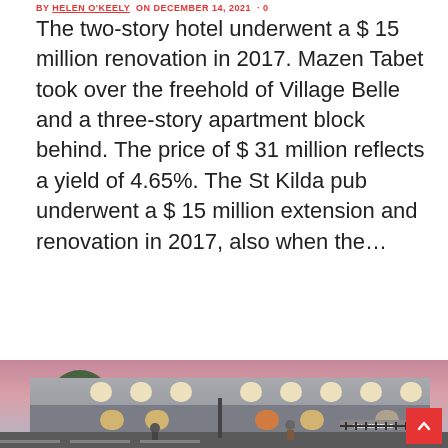BY HELEN O'KEELY ON DECEMBER 14, 2021 · 0
The two-story hotel underwent a $ 15 million renovation in 2017. Mazen Tabet took over the freehold of Village Belle and a three-story apartment block behind. The price of $ 31 million reflects a yield of 4.65%. The St Kilda pub underwent a $ 15 million extension and renovation in 2017, also when the…
READ MORE
[Figure (photo): Exterior photograph of Village Belle hotel, a two-story heritage-style building with arched windows, illuminated at dusk with pedestrians on the street in front.]